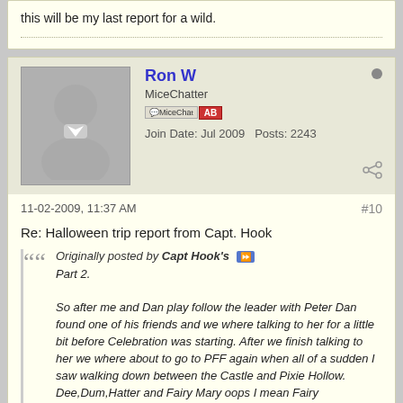this will be my last report for a wild.
Ron W
MiceChatter
Join Date: Jul 2009   Posts: 2243
11-02-2009, 11:37 AM   #10
Re: Halloween trip report from Capt. Hook
Originally posted by Capt Hook's
Part 2.

So after me and Dan play follow the leader with Peter Dan found one of his friends and we where talking to her for a little bit before Celebration was starting. After we finish talking to her we where about to go to PFF again when all of a sudden I saw walking down between the Castle and Pixie Hollow. Dee,Dum,Hatter and Fairy Mary oops I mean Fairy Godmother. When I saw them I just ran as fast as I could so fast that Dan lost me here are the shots taken with them.